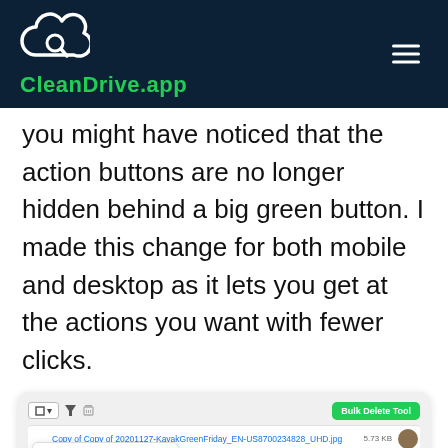CleanDrive.app
you might have noticed that the action buttons are no longer hidden behind a big green button. I made this change for both mobile and desktop as it lets you get at the actions you want with fewer clicks.
[Figure (screenshot): Screenshot of CleanDrive.app interface showing a file list with a dropdown menu open offering None, All, Oldest, and Newest sorting options. Files shown include copies of KayakGreenFriday images. A green 'Bulk Delete Tool' button is visible in the top right of the interface.]